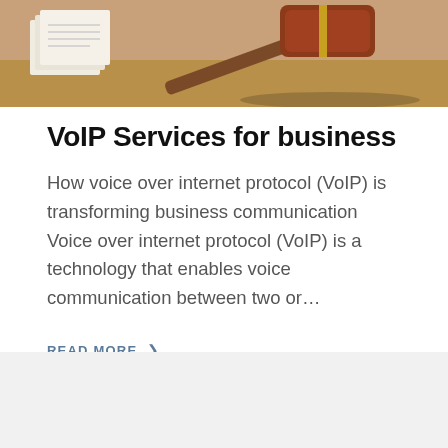[Figure (photo): Photo of a wooden gavel and papers on a desk, brown tones]
VoIP Services for business
How voice over internet protocol (VoIP) is transforming business communication Voice over internet protocol (VoIP) is a technology that enables voice communication between two or…
READ MORE ❯